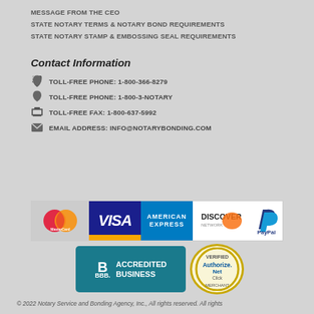MESSAGE FROM THE CEO
STATE NOTARY TERMS & NOTARY BOND REQUIREMENTS
STATE NOTARY STAMP & EMBOSSING SEAL REQUIREMENTS
Contact Information
TOLL-FREE PHONE: 1-800-366-8279
TOLL-FREE PHONE: 1-800-3-NOTARY
TOLL-FREE FAX: 1-800-637-5992
EMAIL ADDRESS: info@notarybonding.com
[Figure (logo): Payment method logos: MasterCard, VISA, American Express, Discover Network, PayPal]
[Figure (logo): BBB Accredited Business badge and Authorize.Net Verified Merchant badge]
© 2022 Notary Service and Bonding Agency, Inc., All rights reserved. All rights